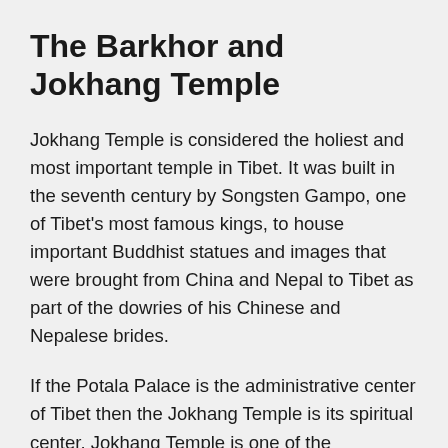The Barkhor and Jokhang Temple
Jokhang Temple is considered the holiest and most important temple in Tibet. It was built in the seventh century by Songsten Gampo, one of Tibet's most famous kings, to house important Buddhist statues and images that were brought from China and Nepal to Tibet as part of the dowries of his Chinese and Nepalese brides.
If the Potala Palace is the administrative center of Tibet then the Jokhang Temple is its spiritual center. Jokhang Temple is one of the